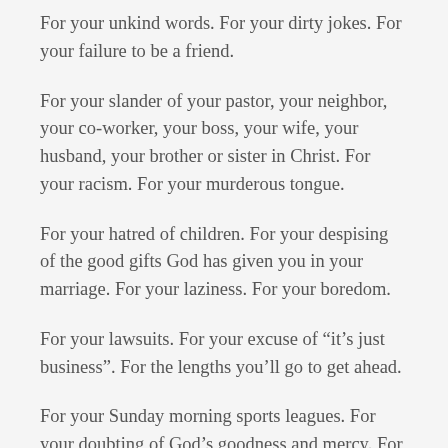For your unkind words. For your dirty jokes. For your failure to be a friend.
For your slander of your pastor, your neighbor, your co-worker, your boss, your wife, your husband, your brother or sister in Christ. For your racism. For your murderous tongue.
For your hatred of children. For your despising of the good gifts God has given you in your marriage. For your laziness. For your boredom.
For your lawsuits. For your excuse of “it’s just business”. For the lengths you’ll go to get ahead.
For your Sunday morning sports leagues. For your doubting of God’s goodness and mercy. For your vacations which include everything except hearing